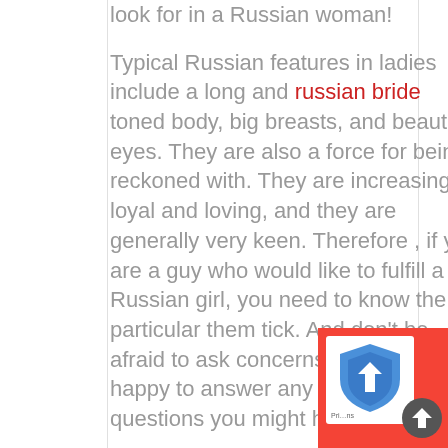look for in a Russian woman!
Typical Russian features in ladies include a long and russian bride toned body, big breasts, and beautiful eyes. They are also a force for being reckoned with. They are increasingly loyal and loving, and they are generally very keen. Therefore , if you are a guy who would like to fulfill a Russian girl, you need to know the particular them tick. And don't be afraid to ask concerns! They are very happy to answer any kind of questions you might have.
[Figure (other): reCAPTCHA badge widget in bottom-right corner with blue reCAPTCHA logo on white background with red surrounding and arrow button]